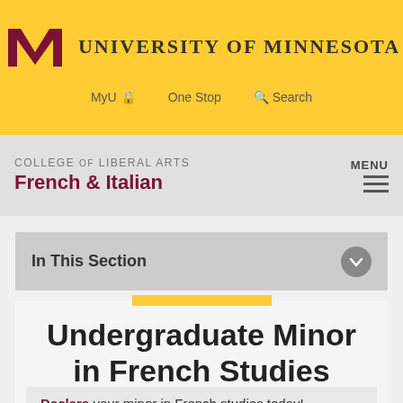[Figure (logo): University of Minnesota M logo in maroon with text UNIVERSITY OF MINNESOTA]
MyU  One Stop  Search
COLLEGE OF LIBERAL ARTS French & Italian
In This Section
Undergraduate Minor in French Studies
Declare your minor in French studies today!